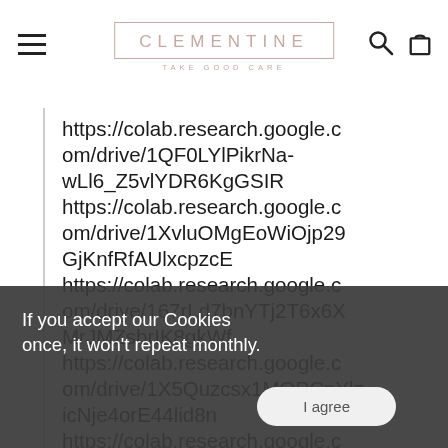CLEMENTINE — TAKE GOOD CARE
https://colab.research.google.com/drive/1QF0LYlPikrNa-wLl6_Z5vlYDR6KgGSIR https://colab.research.google.com/drive/1XvluOMgEoWiOjp29GjKnfRfAUlxcpzcE https://colab.research.google.com/drive/167rLd7bnYTj2T6x6MrJMZsbrIK8gkWf https://colab.research.google.com/drive/1X5Quzcsx1MOPCpYlzicNje4orE44lid8n https://colab.research.google.com/drive/1nCMaWa9ANytlFVrOAzL...wgSjY https://colab.research.google.c
If you accept our Cookies once, it won't repeat monthly.
I agree